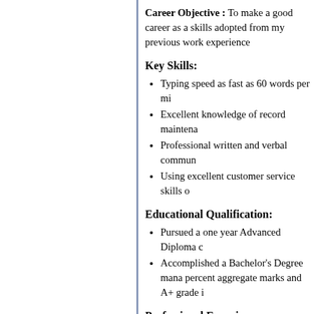Career Objective : To make a good career as a skills adopted from my previous work experience
Key Skills:
Typing speed as fast as 60 words per mi
Excellent knowledge of record maintena
Professional written and verbal commun
Using excellent customer service skills o
Educational Qualification:
Pursued a one year Advanced Diploma c
Accomplished a Bachelor's Degree mana percent aggregate marks and A+ grade i
Professional Experience:
Post: Wholesale Distributor Administrative A
Organization: ABC Suppliers Pvt. Ltd., New Yo
Duration: April 2008 - till date
Roles and Responsibilities:
To manage correspondence from supplie
Organizing and implementation the sho
Planning and coordinating with Commo